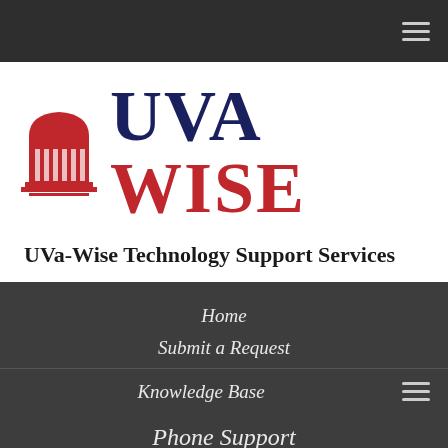[Figure (logo): UVa Wise logo with rotunda icon, UVA in dark navy bold and WISE in red bold, large text]
UVa-Wise Technology Support Services
Home
Submit a Request
Check on a Request
Knowledge Base
Phone Support
276-376-4509